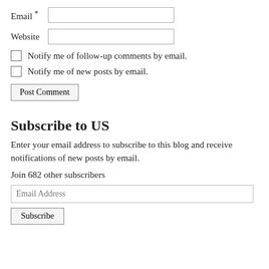Email *
Website
Notify me of follow-up comments by email.
Notify me of new posts by email.
Post Comment
Subscribe to US
Enter your email address to subscribe to this blog and receive notifications of new posts by email.
Join 682 other subscribers
Email Address
Subscribe